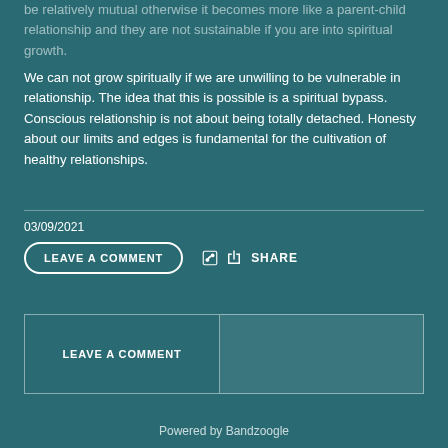be relatively mutual otherwise it becomes more like a parent-child relationship and they are not sustainable if you are into spiritual growth.
We can not grow spiritually if we are unwilling to be vulnerable in relationship. The idea that this is possible is a spiritual bypass. Conscious relationship is not about being totally detached. Honesty about our limits and edges is fundamental for the cultivation of healthy relationships.
03/09/2021
LEAVE A COMMENT
SHARE
LEAVE A COMMENT
Powered by Bandzoogle